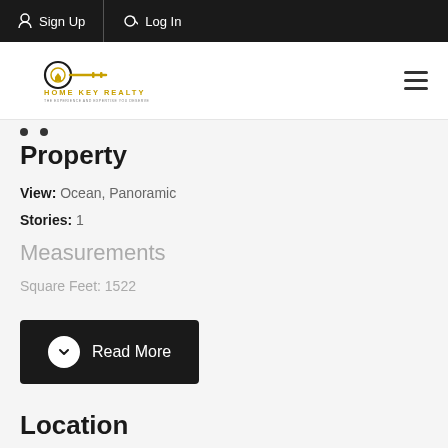Sign Up  Log In
[Figure (logo): Home Key Realty logo with golden key graphic and text 'HOME KEY REALTY']
Property
View:  Ocean, Panoramic
Stories:  1
Measurements
Square Feet:  1522
Read More
Location